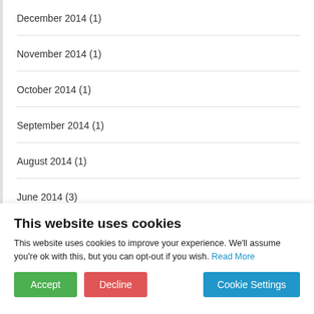December 2014 (1)
November 2014 (1)
October 2014 (1)
September 2014 (1)
August 2014 (1)
June 2014 (3)
This website uses cookies
This website uses cookies to improve your experience. We'll assume you're ok with this, but you can opt-out if you wish. Read More